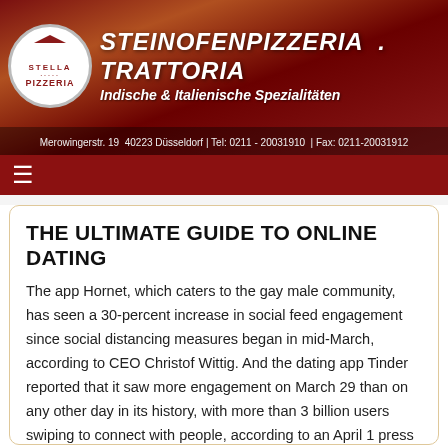[Figure (logo): Steinofenpizzeria Trattoria website header banner with Stella Pizzeria logo and restaurant name and address]
Merowingerstr. 19  40223 Düsseldorf | Tel: 0211 - 20031910 | Fax: 0211-20031912
THE ULTIMATE GUIDE TO ONLINE DATING
The app Hornet, which caters to the gay male community, has seen a 30-percent increase in social feed engagement since social distancing measures began in mid-March, according to CEO Christof Wittig. And the dating app Tinder reported that it saw more engagement on March 29 than on any other day in its history, with more than 3 billion users swiping to connect with people, according to an April 1 press release. In 2020, online dating revenue in the U.S. amounted to 602 million U.S. dollars, and it is projected to reach 755 billion U.S. dollars by 2024. The number of users is also expected to